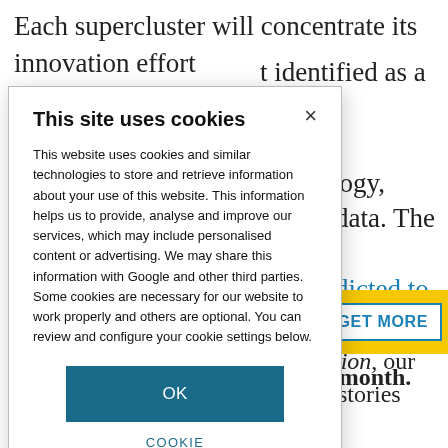Each supercluster will concentrate its innovation effort
identified as a crop technology, nd big data. The r is predicted to nation's GDP is expected to 00. Based in expertise from ding media firm
[Figure (screenshot): Yellow banner with GET MORE button in blue outline style]
es each month.
g Re:action, our emistry stories from
This site uses cookies

This website uses cookies and similar technologies to store and retrieve information about your use of this website. This information helps us to provide, analyse and improve our services, which may include personalised content or advertising. We may share this information with Google and other third parties. Some cookies are necessary for our website to work properly and others are optional. You can review and configure your cookie settings below.

OK

COOKIE SETTINGS